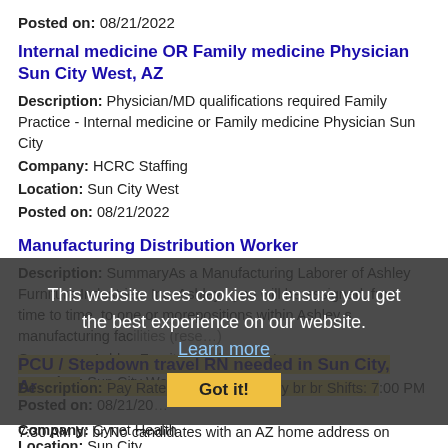Posted on: 08/21/2022
Internal medicine OR Family medicine Physician Sun City West, AZ
Description: Physician/MD qualifications required Family Practice - Internal medicine or Family medicine Physician Sun City
Company: HCRC Staffing
Location: Sun City West
Posted on: 08/21/2022
Manufacturing Distribution Worker
Description: SummaryAs a Manufacturing Laborer of Ashley Furniture Industries, Inc. Ashley , you will be assigned, from time to time, to one or morepositions within Ashley s manufacturing fac...
Company: Ashley Furniture Industries, Inc.
Location: Sun City West
Posted on: 08/21/20...
This website uses cookies to ensure you get the best experience on our website. Learn more Got it!
PCU / Stepdown travel RN needed in Sun City, Arizona
Description: Pay Rate br br 3,178 weekly br br Shifts: 7:00 PM - 7:30 AM br br No candidates with an AZ home address on
Company: Cynet Health
Location: Sun City